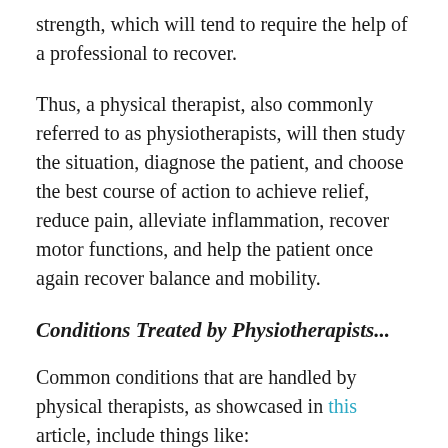strength, which will tend to require the help of a professional to recover.
Thus, a physical therapist, also commonly referred to as physiotherapists, will then study the situation, diagnose the patient, and choose the best course of action to achieve relief, reduce pain, alleviate inflammation, recover motor functions, and help the patient once again recover balance and mobility.
Conditions Treated by Physiotherapists...
Common conditions that are handled by physical therapists, as showcased in this article, include things like:
Back pain, which has become very common in